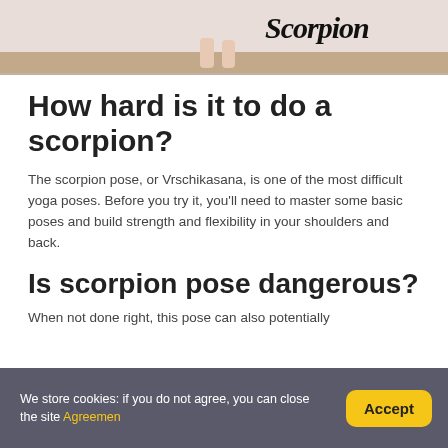[Figure (photo): Top portion of a person doing a scorpion yoga pose, with decorative 'Scorpion' script text overlaid on the image. Light background with wooden floor.]
How hard is it to do a scorpion?
The scorpion pose, or Vrschikasana, is one of the most difficult yoga poses. Before you try it, you'll need to master some basic poses and build strength and flexibility in your shoulders and back.
Is scorpion pose dangerous?
When not done right, this pose can also potentially
We store cookies: if you do not agree, you can close the site Agreemen